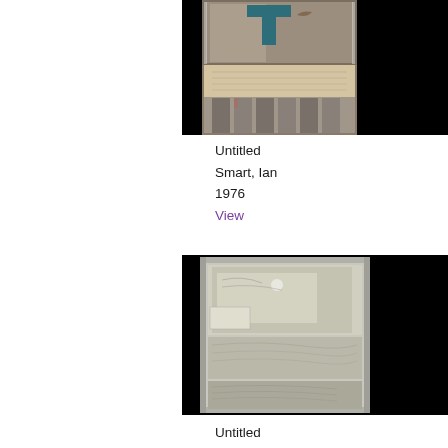[Figure (photo): Artwork photo - Untitled by Ian Smart, 1976. Shows a box/shelf construction with abstract painted elements including a blue cross/T shape, a horizontal panel with text/marks, and vertical strips at bottom. Black borders on sides.]
Untitled
Smart, Ian
1976
View
[Figure (photo): Artwork photo - Untitled by Sandy Reid, 1975. Shows a box/case construction with layered paper or fabric elements with marks and textures, appearing aged or distressed. Black borders on sides.]
Untitled
Reid, Sandy
1975
View